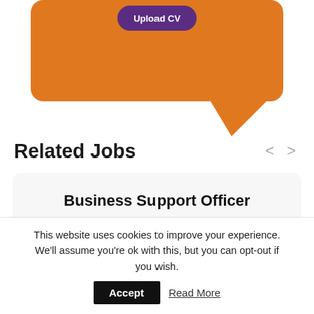[Figure (illustration): Orange speech bubble / chat bubble graphic at the top of the page, partially cropped, with a purple button visible at the top]
Related Jobs
Business Support Officer
Lambeth, UK
£16.19
This website uses cookies to improve your experience. We'll assume you're ok with this, but you can opt-out if you wish.
Accept
Read More